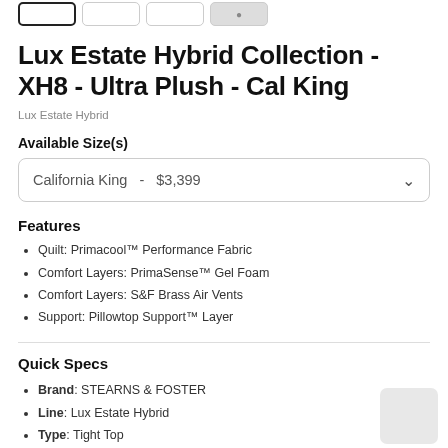[Figure (screenshot): Row of four product thumbnail image boxes at the top of the page, the first one selected with a bold border.]
Lux Estate Hybrid Collection - XH8 - Ultra Plush - Cal King
Lux Estate Hybrid
Available Size(s)
California King  -  $3,399
Features
Quilt: Primacool™ Performance Fabric
Comfort Layers: PrimaSense™ Gel Foam
Comfort Layers: S&F Brass Air Vents
Support: Pillowtop Support™ Layer
Quick Specs
Brand: STEARNS & FOSTER
Line: Lux Estate Hybrid
Type: Tight Top